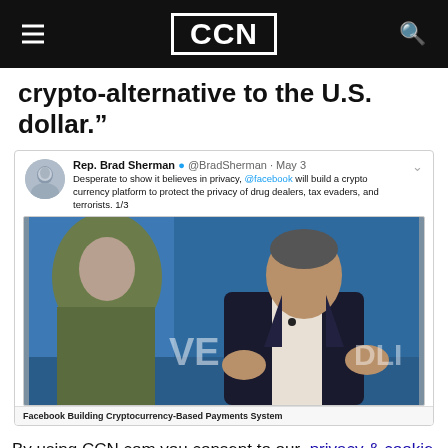CCN
crypto-alternative to the U.S. dollar.”
[Figure (screenshot): Embedded tweet from Rep. Brad Sherman (@BradSherman, May 3) reading: 'Desperate to show it believes in privacy, @facebook will build a crypto currency platform to protect the privacy of drug dealers, tax evaders, and terrorists. 1/3' with an embedded image of a man in a dark suit speaking at a conference stage with 'Facebook Building Cryptocurrency-Based Payments System' caption.]
By using CCN.com you consent to our  privacy & cookie policy.
Continue